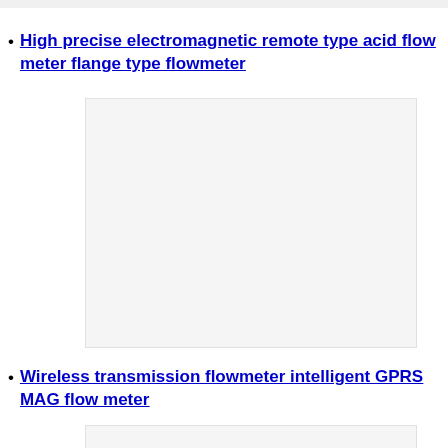High precise electromagnetic remote type acid flow meter flange type flowmeter
[Figure (photo): Product image placeholder for electromagnetic flow meter]
Wireless transmission flowmeter intelligent GPRS MAG flow meter
[Figure (photo): Product image placeholder for wireless GPRS MAG flow meter]